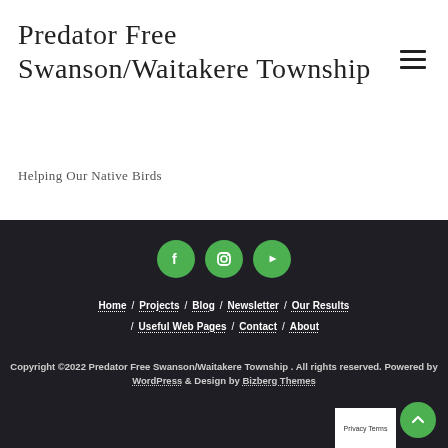Predator Free Swanson/Waitakere Township
Helping Our Native Birds
[Figure (other): Social media icons: Facebook, Instagram, YouTube (green circles with white icons)]
Home / Projects / Blog / Newsletter / Our Results / Useful Web Pages / Contact / About
Copyright ©2022 Predator Free Swanson/Waitakere Township . All rights reserved. Powered by WordPress & Design by Bizberg Themes